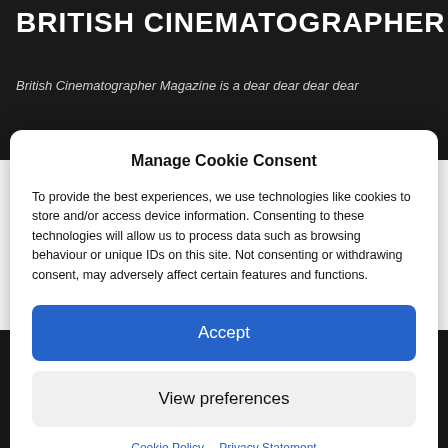BRITISH CINEMATOGRAPHER
British Cinematographer Magazine is a dear dear dear dear
Manage Cookie Consent
To provide the best experiences, we use technologies like cookies to store and/or access device information. Consenting to these technologies will allow us to process data such as browsing behaviour or unique IDs on this site. Not consenting or withdrawing consent, may adversely affect certain features and functions.
Accept
View preferences
Cookie Policy  Privacy Statement
Connect Online